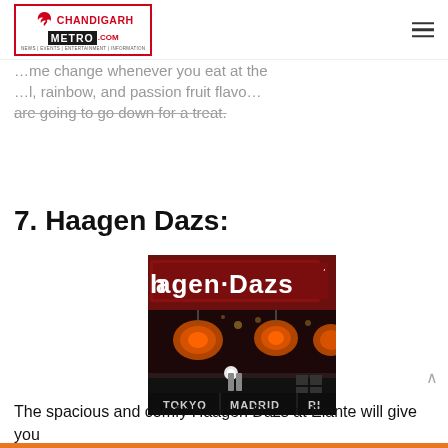Chandigarh Metro .com — News | Events | Entertainment | Information
…me change whenever you eat at the …l, rainbow, and passion fruit flav… are going to go down for a treat.
7. Haagen Dazs:
[Figure (photo): Interior photo of Haagen-Dazs store showing the illuminated brand signage 'Häagen-Dazs' in white letters on dark red background, with orange pendant lights, and city names TOKYO, MADRID visible at the bottom.]
The spacious and comfy Haagen Dazs at Elante will give you